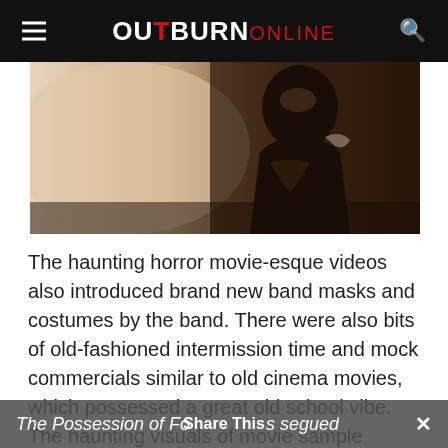OUTBURN ONLINE
[Figure (photo): Dark atmospheric horror-style image showing a figure in leather costume and mask, dimly lit against a pale background]
The haunting horror movie-esque videos also introduced brand new band masks and costumes by the band. There were also bits of old-fashioned intermission time and mock commercials similar to old cinema movies, which possessed a great old school vibe. The haunting visuals of movie sample The Possession of Fo...s segued
The Possession of Fo... Share This ...s segued ×